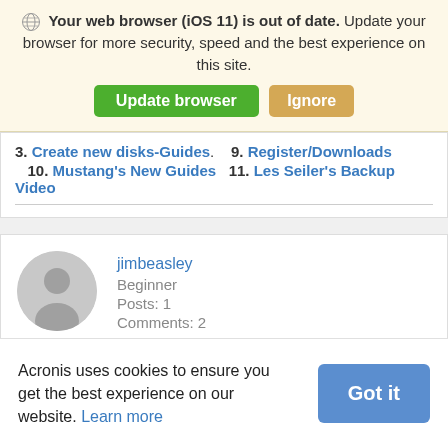Your web browser (iOS 11) is out of date. Update your browser for more security, speed and the best experience on this site.
Update browser | Ignore
3. Create new disks-Guides.    9. Register/Downloads
10. Mustang's New Guides   11. Les Seiler's Backup Video
jimbeasley
Beginner
Posts: 1
Comments: 2
Acronis uses cookies to ensure you get the best experience on our website. Learn more